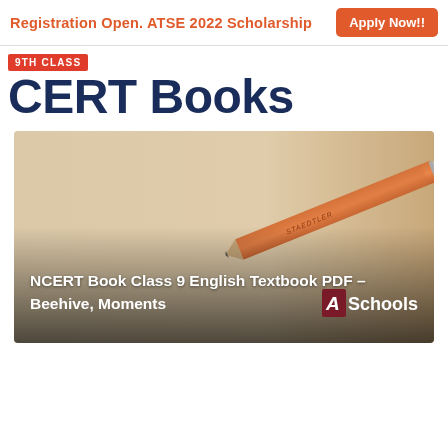Registration Open. ATSE 2022 Scholarship   Apply Now!!
9TH CLASS NCERT Books
[Figure (photo): Photo of a pencil on a beige/cream surface with text overlay reading 'NCERT Book Class 9 English Textbook PDF – Beehive, Moments' and ASchools watermark logo]
NCERT Book Class 9 English Textbook PDF – Beehive, Moments